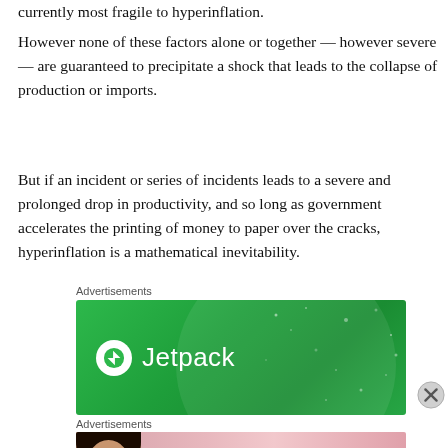currently most fragile to hyperinflation.
However none of these factors alone or together — however severe — are guaranteed to precipitate a shock that leads to the collapse of production or imports.
But if an incident or series of incidents leads to a severe and prolonged drop in productivity, and so long as government accelerates the printing of money to paper over the cracks, hyperinflation is a mathematical inevitability.
Advertisements
[Figure (illustration): Jetpack advertisement banner with green background and Jetpack logo]
Advertisements
[Figure (illustration): Victoria's Secret advertisement banner with model photo, VS logo, 'Shop the Collection' text and Shop Now button]